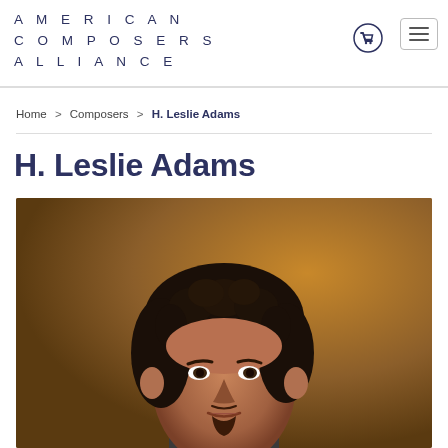AMERICAN COMPOSERS ALLIANCE
Home > Composers > H. Leslie Adams
H. Leslie Adams
[Figure (photo): Portrait photograph of H. Leslie Adams, a person with dark curly hair, photographed against a warm brown background]